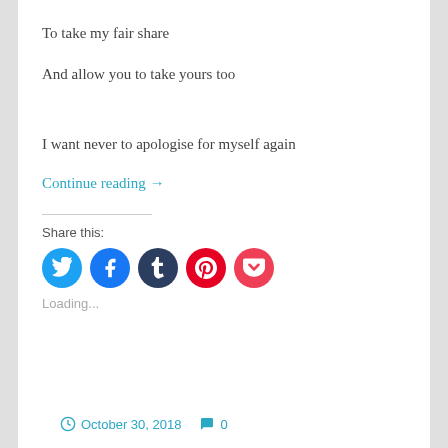To take my fair share
And allow you to take yours too
I want never to apologise for myself again
Continue reading →
Share this:
[Figure (other): Social share icons: Twitter (blue), Facebook (blue), Tumblr (dark navy), Pinterest (red), Pocket (red/pink)]
Loading...
October 30, 2018   0